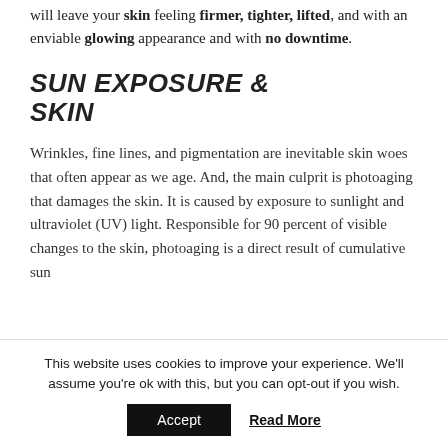will leave your skin feeling firmer, tighter, lifted, and with an enviable glowing appearance and with no downtime.
SUN EXPOSURE & SKIN
Wrinkles, fine lines, and pigmentation are inevitable skin woes that often appear as we age. And, the main culprit is photoaging that damages the skin. It is caused by exposure to sunlight and ultraviolet (UV) light. Responsible for 90 percent of visible changes to the skin, photoaging is a direct result of cumulative sun
This website uses cookies to improve your experience. We'll assume you're ok with this, but you can opt-out if you wish.
Accept  Read More